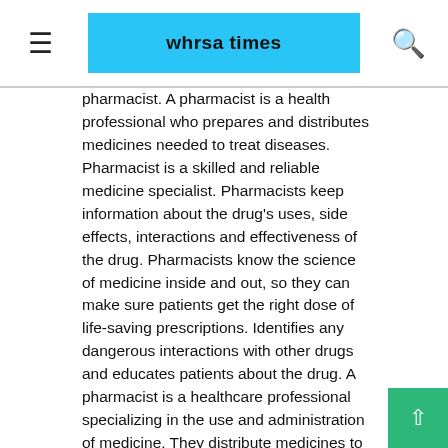whrsa times
pharmacist. A pharmacist is a health professional who prepares and distributes medicines needed to treat diseases. Pharmacist is a skilled and reliable medicine specialist. Pharmacists keep information about the drug's uses, side effects, interactions and effectiveness of the drug. Pharmacists know the science of medicine inside and out, so they can make sure patients get the right dose of life-saving prescriptions. Identifies any dangerous interactions with other drugs and educates patients about the drug. A pharmacist is a healthcare professional specializing in the use and administration of medicine. They distribute medicines to the patients on the prescriptions of the doctors. They inform the patients about any harmful